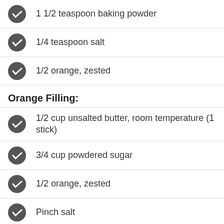1 1/2 teaspoon baking powder
1/4 teaspoon salt
1/2 orange, zested
Orange Filling:
1/2 cup unsalted butter, room temperature (1 stick)
3/4 cup powdered sugar
1/2 orange, zested
Pinch salt
TEXT INGREDIENTS